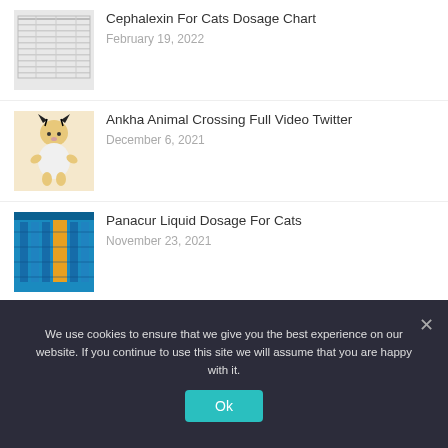[Figure (screenshot): Thumbnail of Cephalexin For Cats Dosage Chart - table with dosage information]
Cephalexin For Cats Dosage Chart
February 19, 2022
[Figure (illustration): Ankha Animal Crossing character illustration]
Ankha Animal Crossing Full Video Twitter
December 6, 2021
[Figure (screenshot): Panacur Liquid Dosage For Cats - blue chart/table thumbnail]
Panacur Liquid Dosage For Cats
November 23, 2021
[Figure (illustration): Ankha The Zone character illustration]
Ankha The Zone Original Video Viral Series Animal Crossing Tiktok
August 4, 2021
Next »
We use cookies to ensure that we give you the best experience on our website. If you continue to use this site we will assume that you are happy with it.